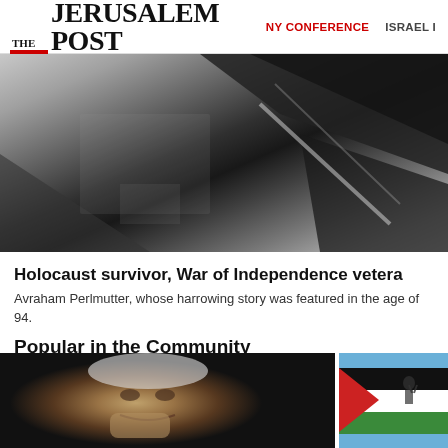THE JERUSALEM POST | NY CONFERENCE | ISRAEL
[Figure (photo): Black and white photograph, close-up detail, dark tones with geometric angular shapes]
Holocaust survivor, War of Independence vetera...
Avraham Perlmutter, whose harrowing story was featured in... the age of 94.
Popular in the Community
[Figure (photo): Two side-by-side thumbnail images: left shows an elderly man's face (black and white), right shows people with Palestinian flag (color)]